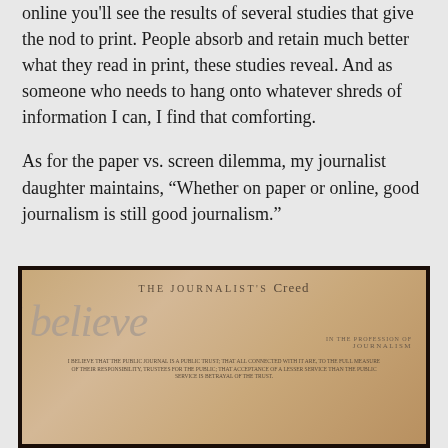online you'll see the results of several studies that give the nod to print. People absorb and retain much better what they read in print, these studies reveal. And as someone who needs to hang onto whatever shreds of information I can, I find that comforting.
As for the paper vs. screen dilemma, my journalist daughter maintains, “Whether on paper or online, good journalism is still good journalism.”
[Figure (photo): A framed print of The Journalist's Creed, showing large italic text 'I believe' at the top with smaller text below describing beliefs about journalism. The document is printed on aged/yellowed paper with a dark wooden frame.]